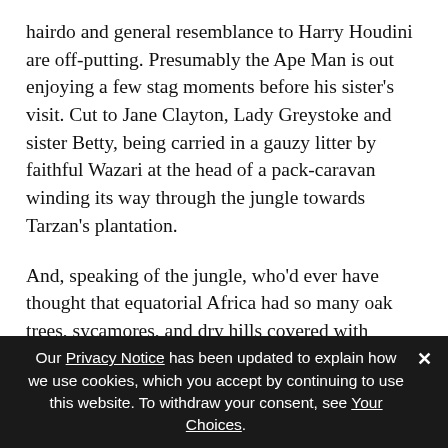hairdo and general resemblance to Harry Houdini are off-putting. Presumably the Ape Man is out enjoying a few stag moments before his sister's visit. Cut to Jane Clayton, Lady Greystoke and sister Betty, being carried in a gauzy litter by faithful Wazari at the head of a pack-caravan winding its way through the jungle towards Tarzan's plantation.
And, speaking of the jungle, who'd ever have thought that equatorial Africa had so many oak trees, sycamores, and dry hills covered with sagebrush? The earlier films at least made a pretense of disguising their LA-suburb locations. Tarzan and the Golden Lion relies on one stock shot of some zebras running; the
Our Privacy Notice has been updated to explain how we use cookies, which you accept by continuing to use this website. To withdraw your consent, see Your Choices.